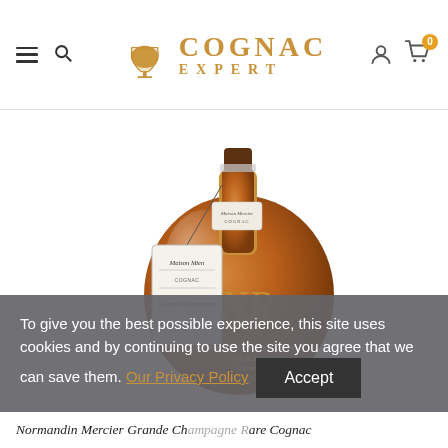Cognac Expert — navigation header with hamburger menu, search icon, logo, account icon, and cart icon showing 0 items
[Figure (photo): Bottle of Normandin-Mercier Grande Champagne Rare Cognac. A teardrop-shaped glass bottle with amber-colored cognac, brown cork stopper, white label around neck reading 'Maison Mercier COGNAC', and a hanging tag reading 'Maison Mien Grande Champagne RARE'. Gold 'NR' monogram on bottle body with 'Normandin-Mercier Cognac La Croix' text.]
To give you the best possible experience, this site uses cookies and by continuing to use the site you agree that we can save them.
Our Privacy Policy   Accept
Normandin Mercier Grande Champagne Rare Cognac